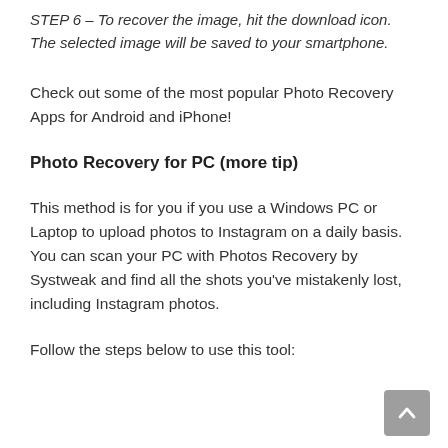STEP 6 – To recover the image, hit the download icon. The selected image will be saved to your smartphone.
Check out some of the most popular Photo Recovery Apps for Android and iPhone!
Photo Recovery for PC (more tip)
This method is for you if you use a Windows PC or Laptop to upload photos to Instagram on a daily basis. You can scan your PC with Photos Recovery by Systweak and find all the shots you've mistakenly lost, including Instagram photos.
Follow the steps below to use this tool: